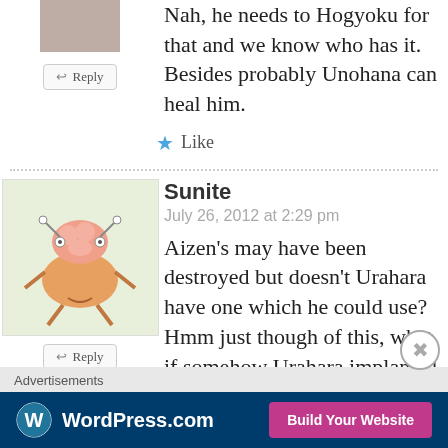Nah, he needs to Hogyoku for that and we know who has it. Besides probably Unohana can heal him.
Like
Sunite
July 26, 2012 at 2:29 pm
Aizen's may have been destroyed but doesn't Urahara have one which he could use?
Hmm just though of this, what if somehow Urahara implanted his Hogyoku in himself just like Aizen did,
[Figure (screenshot): WordPress.com advertisement banner with logo and 'Build Your Website' button]